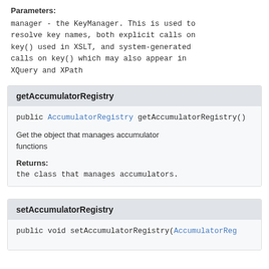Parameters:
manager - the KeyManager. This is used to resolve key names, both explicit calls on key() used in XSLT, and system-generated calls on key() which may also appear in XQuery and XPath
getAccumulatorRegistry
public AccumulatorRegistry getAccumulatorRegistry()
Get the object that manages accumulator functions
Returns:
the class that manages accumulators.
setAccumulatorRegistry
public void setAccumulatorRegistry(AccumulatorReg